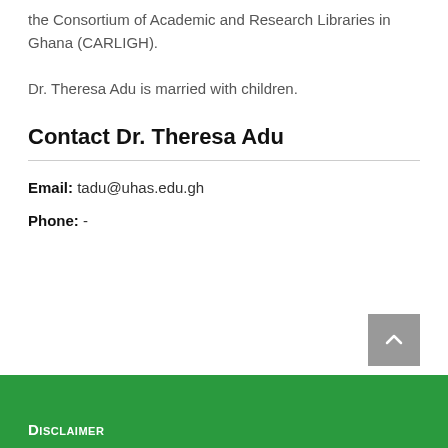the Consortium of Academic and Research Libraries in Ghana (CARLIGH).
Dr. Theresa Adu is married with children.
Contact Dr. Theresa Adu
Email: tadu@uhas.edu.gh
Phone: -
Disclaimer